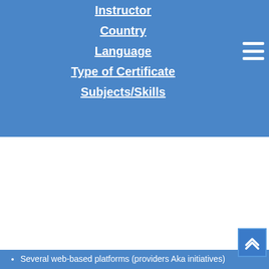Instructor
Country
Language
Type of Certificate
Subjects/Skills
This website uses cookies to help us provide you a better experience. By clicking any link on this page you are giving your consent for us to set cookies. Learn more
Got it!
Several web-based platforms (providers Aka initiatives)